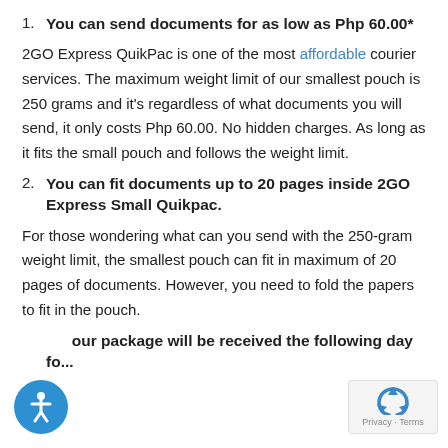1. You can send documents for as low as Php 60.00*
2GO Express QuikPac is one of the most affordable courier services. The maximum weight limit of our smallest pouch is 250 grams and it's regardless of what documents you will send, it only costs Php 60.00. No hidden charges. As long as it fits the small pouch and follows the weight limit.
2. You can fit documents up to 20 pages inside 2GO Express Small Quikpac.
For those wondering what can you send with the 250-gram weight limit, the smallest pouch can fit in maximum of 20 pages of documents. However, you need to fold the papers to fit in the pouch.
3. Your package will be received the following day for...